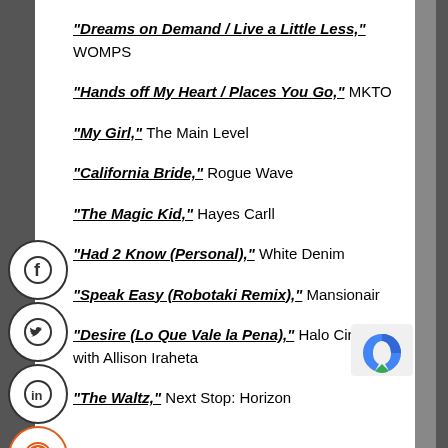“Dreams on Demand / Live a Little Less,” WOMPS
“Hands off My Heart / Places You Go,” MKTO
“My Girl,” The Main Level
“California Bride,” Rogue Wave
“The Magic Kid,” Hayes Carll
“Had 2 Know (Personal),” White Denim
“Speak Easy (Robotaki Remix),” Mansionair
“Desire (Lo Que Vale la Pena),” Halo Circus with Allison Iraheta
“The Waltz,” Next Stop: Horizon